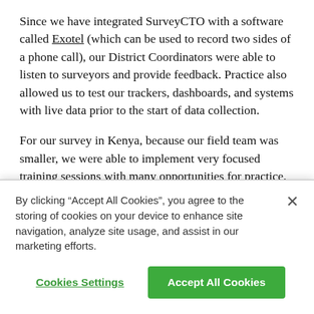Since we have integrated SurveyCTO with a software called Exotel (which can be used to record two sides of a phone call), our District Coordinators were able to listen to surveyors and provide feedback. Practice also allowed us to test our trackers, dashboards, and systems with live data prior to the start of data collection.
For our survey in Kenya, because our field team was smaller, we were able to implement very focused training sessions with many opportunities for practice. Part of the training included piloting the survey with surveyors and actual respondents. JDinisght provided airtime for enumerators to
By clicking “Accept All Cookies”, you agree to the storing of cookies on your device to enhance site navigation, analyze site usage, and assist in our marketing efforts.